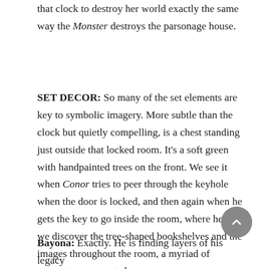that clock to destroy her world exactly the same way the Monster destroys the parsonage house.
SET DECOR: So many of the set elements are key to symbolic imagery. More subtle than the clock but quietly compelling, is a chest standing just outside that locked room. It's a soft green with handpainted trees on the front. We see it when Conor tries to peer through the keyhole when the door is locked, and then again when he gets the key to go inside the room, where he and we discover the tree-shaped bookshelves and the images throughout the room, a myriad of moments represented...
Bayona: Exactly. He is finding layers of his legacy